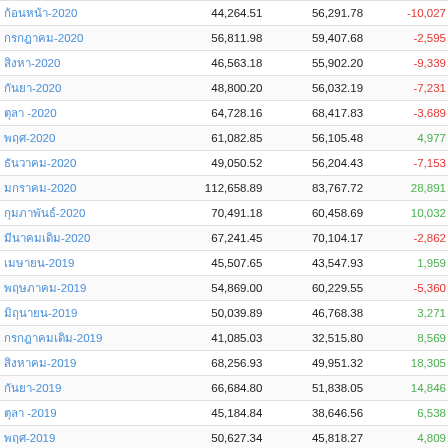| Name | Value1 | Value2 | Diff |
| --- | --- | --- | --- |
| (truncated)-2020 | 44,264.51 | 56,291.78 | -10,027 |
| (Thai)-2020 | 56,811.98 | 59,407.68 | -2,595 |
| (Thai)-2020 | 46,563.18 | 55,902.20 | -9,339 |
| (Thai)-2020 | 48,800.20 | 56,032.19 | -7,231 |
| (Thai) -2020 | 64,728.16 | 68,417.83 | -3,689 |
| (Thai)-2020 | 61,082.85 | 56,105.48 | 4,977 |
| (Thai)-2020 | 49,050.52 | 56,204.43 | -7,153 |
| (Thai)-2020 | 112,658.89 | 83,767.72 | 28,891 |
| (Thai)-2020 | 70,491.18 | 60,458.69 | 10,032 |
| (Thai)-2020 | 67,241.45 | 70,104.17 | -2,862 |
| (Thai)-2019 | 45,507.65 | 43,547.93 | 1,959 |
| (Thai)-2019 | 54,869.00 | 60,229.55 | -5,360 |
| (Thai)-2019 | 50,039.89 | 46,768.38 | 3,271 |
| (Thai)-2019 | 41,085.03 | 32,515.80 | 8,569 |
| (Thai)-2019 | 68,256.93 | 49,951.32 | 18,305 |
| (Thai)-2019 | 66,684.80 | 51,838.05 | 14,846 |
| (Thai) -2019 | 45,184.84 | 38,646.56 | 6,538 |
| (Thai)-2019 | 50,627.34 | 45,818.27 | 4,809 |
| (Thai)-2019 | 43,382.05 | 48,387.13 | -5,005 |
| (Thai)-2019 | 52,816.71 | 58,678.14 | -5,861 |
| (Thai)-2019 | 47,400.96 | 46,923.06 | 477 |
| (Thai)-2019 | 54,798.53 | 48,256.99 | 6,541 |
| (Thai)-2018 | 48,199.59 | 45,280.62 | 2,918 |
| (Thai)-2018 | 52,498.76 | 47,603.16 | 4,895 |